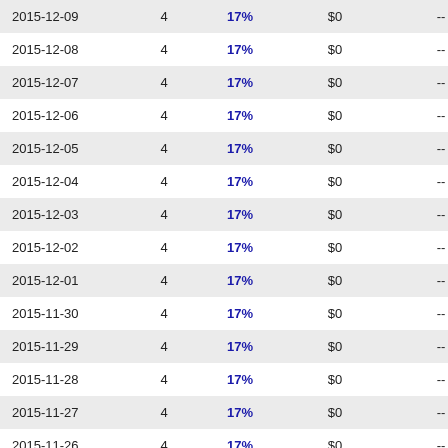| Date |  | % | $ |  |
| --- | --- | --- | --- | --- |
| 2015-12-09 | 4 | 17% | $0 | -- |
| 2015-12-08 | 4 | 17% | $0 | -- |
| 2015-12-07 | 4 | 17% | $0 | -- |
| 2015-12-06 | 4 | 17% | $0 | -- |
| 2015-12-05 | 4 | 17% | $0 | -- |
| 2015-12-04 | 4 | 17% | $0 | -- |
| 2015-12-03 | 4 | 17% | $0 | -- |
| 2015-12-02 | 4 | 17% | $0 | -- |
| 2015-12-01 | 4 | 17% | $0 | -- |
| 2015-11-30 | 4 | 17% | $0 | -- |
| 2015-11-29 | 4 | 17% | $0 | -- |
| 2015-11-28 | 4 | 17% | $0 | -- |
| 2015-11-27 | 4 | 17% | $0 | -- |
| 2015-11-26 | 4 | 17% | $0 | -- |
| 2015-11-25 | 4 | 17% | $0 | -- |
| 2015-11-24 | 4 | 17% | $0 | -- |